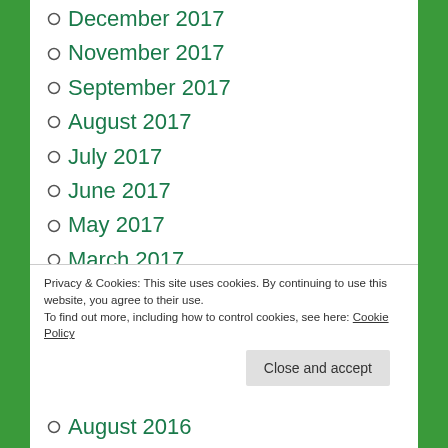December 2017
November 2017
September 2017
August 2017
July 2017
June 2017
May 2017
March 2017
February 2017
January 2017
Privacy & Cookies: This site uses cookies. By continuing to use this website, you agree to their use.
To find out more, including how to control cookies, see here: Cookie Policy
Close and accept
August 2016